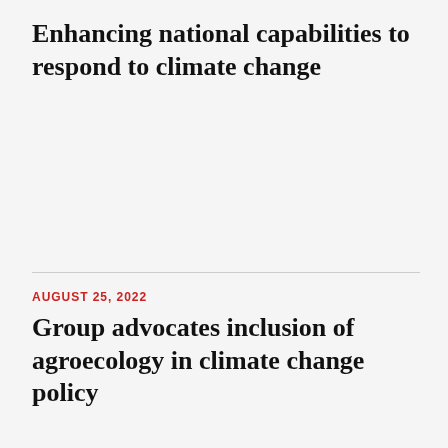Enhancing national capabilities to respond to climate change
AUGUST 25, 2022
Group advocates inclusion of agroecology in climate change policy